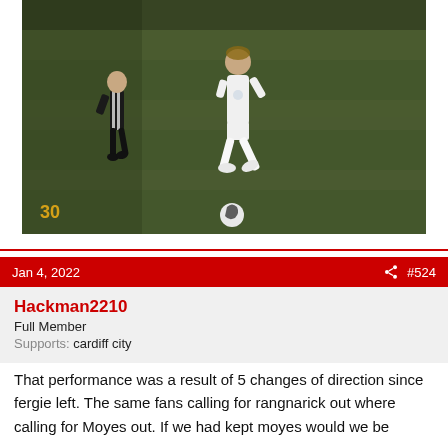[Figure (photo): A soccer/football player in white uniform dribbling the ball on a green pitch, with a player in black and white stripes nearby. A timestamp '30' is visible in the bottom left corner of the video frame.]
Jan 4, 2022
#524
Hackman2210
Full Member
Supports: cardiff city
That performance was a result of 5 changes of direction since fergie left. The same fans calling for rangnarick out where calling for Moyes out. If we had kept moyes would we be